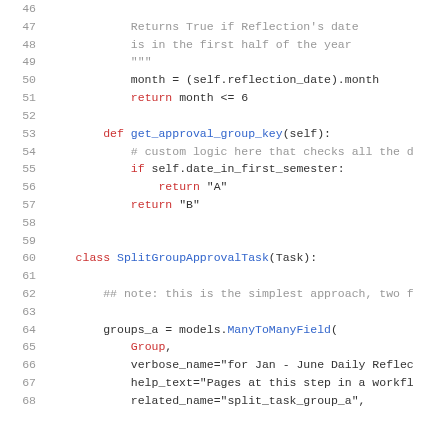[Figure (screenshot): Python source code listing showing lines 46-68. Includes a method returning True for first-half-of-year dates, a get_approval_group_key method, and the beginning of a SplitGroupApprovalTask class definition with ManyToManyField assignment.]